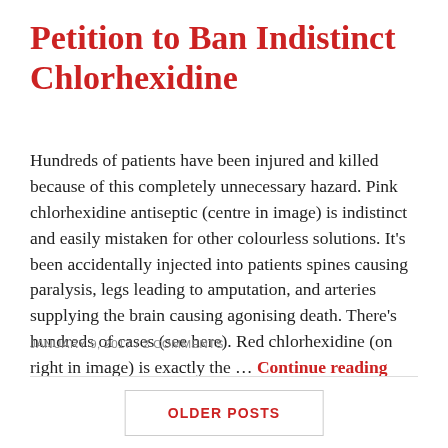Petition to Ban Indistinct Chlorhexidine
Hundreds of patients have been injured and killed because of this completely unnecessary hazard. Pink chlorhexidine antiseptic (centre in image) is indistinct and easily mistaken for other colourless solutions. It's been accidentally injected into patients spines causing paralysis, legs leading to amputation, and arteries supplying the brain causing agonising death. There's hundreds of cases (see here). Red chlorhexidine (on right in image) is exactly the … Continue reading
JANUARY 9, 2017 / 2 COMMENTS
OLDER POSTS